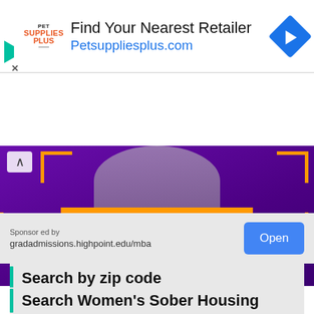[Figure (screenshot): Pet Supplies Plus advertisement banner with text 'Find Your Nearest Retailer' and URL 'Petsuppliesplus.com']
[Figure (photo): High Point University advertisement with purple background, orange bracket corners, person silhouette, orange LEARN MORE button, and university name in serif font]
Sponsored by
gradadmissions.highpoint.edu/mba
Open
Search by zip code
Enter a Zip code
GO
Search Women's Sober Housing